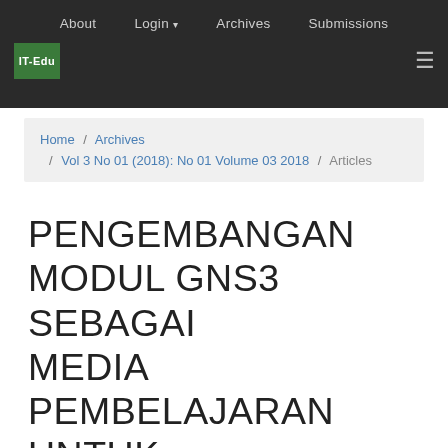About  Login ▾  Archives  Submissions
IT-Edu [logo] ≡
Home / Archives / Vol 3 No 01 (2018): No 01 Volume 03 2018 / Articles
PENGEMBANGAN MODUL GNS3 SEBAGAI MEDIA PEMBELAJARAN UNTUK MENINGKATKAN KEMAMPUAN SISWA DALAM KONFIGURASI